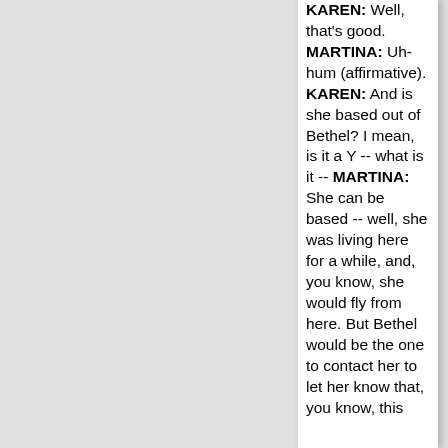KAREN: Well, that's good. MARTINA: Uh-hum (affirmative). KAREN: And is she based out of Bethel? I mean, is it a Y -- what is it -- MARTINA: She can be based -- well, she was living here for a while, and, you know, she would fly from here. But Bethel would be the one to contact her to let her know that, you know, this